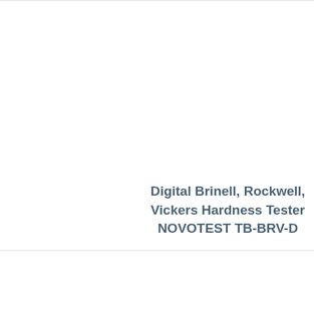[Figure (photo): Product card showing Digital Brinell, Rockwell, Vickers Hardness Tester NOVOTEST TB-BRV-D]
Digital Brinell, Rockwell, Vickers Hardness Tester NOVOTEST TB-BRV-D
[Figure (photo): Product card showing Rockwell Hardness Blocks HRA, partially visible]
Rockwell Har... Blocks HRA,
[Figure (photo): Product card bottom left, content not visible]
[Figure (photo): Product card bottom right, partially visible]